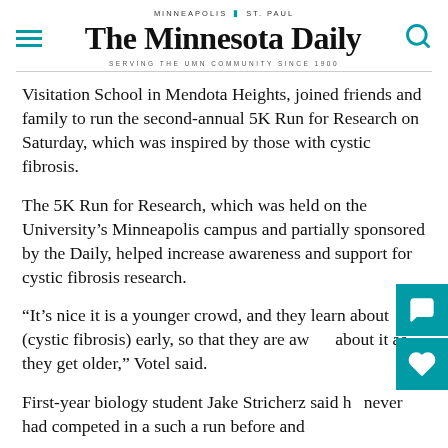MINNEAPOLIS | ST. PAUL — THE MINNESOTA DAILY — SERVING THE UMN COMMUNITY SINCE 1900
Visitation School in Mendota Heights, joined friends and family to run the second-annual 5K Run for Research on Saturday, which was inspired by those with cystic fibrosis.
The 5K Run for Research, which was held on the University's Minneapolis campus and partially sponsored by the Daily, helped increase awareness and support for cystic fibrosis research.
“It’s nice it is a younger crowd, and they learn about (cystic fibrosis) early, so that they are aware about it as they get older,” Votel said.
First-year biology student Jake Stricherz said he never had competed in a such a run before and